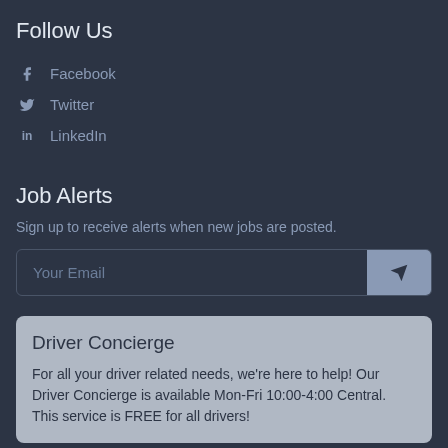Follow Us
Facebook
Twitter
LinkedIn
Job Alerts
Sign up to receive alerts when new jobs are posted.
Your Email
Driver Concierge
For all your driver related needs, we're here to help! Our Driver Concierge is available Mon-Fri 10:00-4:00 Central. This service is FREE for all drivers!